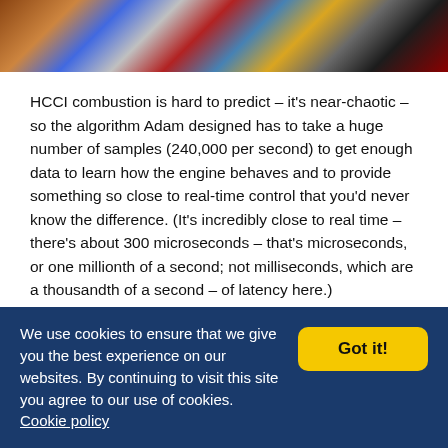[Figure (photo): Close-up photo of a complex engine with metallic components, hoses, blue and red parts visible]
HCCI combustion is hard to predict – it's near-chaotic – so the algorithm Adam designed has to take a huge number of samples (240,000 per second) to get enough data to learn how the engine behaves and to provide something so close to real-time control that you'd never know the difference. (It's incredibly close to real time – there's about 300 microseconds – that's microseconds, or one millionth of a second; not milliseconds, which are a thousandth of a second – of latency here.)
We use cookies to ensure that we give you the best experience on our websites. By continuing to visit this site you agree to our use of cookies. Cookie policy